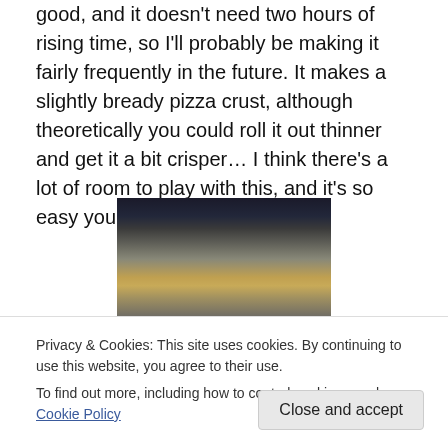good, and it doesn't need two hours of rising time, so I'll probably be making it fairly frequently in the future. It makes a slightly bready pizza crust, although theoretically you could roll it out thinner and get it a bit crisper… I think there's a lot of room to play with this, and it's so easy you might as well!
[Figure (photo): Photo of pizza dough in a dark rectangular baking pan, viewed from above. Some toppings or sauce visible at the bottom. Items visible in the background at the top of the image.]
Privacy & Cookies: This site uses cookies. By continuing to use this website, you agree to their use.
To find out more, including how to control cookies, see here: Cookie Policy